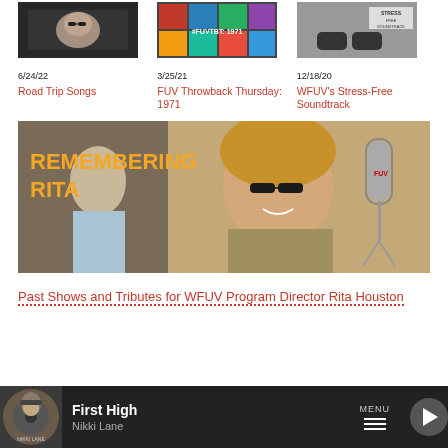[Figure (photo): Thumbnail photo of a woman driving a car with sunglasses]
[Figure (photo): Thumbnail collage of album covers with #FUVTBT: 1971 text]
[Figure (photo): Thumbnail photo of feet/shoes near a sign reading Stress-Free Soundtrack]
6/24/22
3/25/21
12/18/20
Road Trip Songs
FUV Throwback Thursday: 1971
WFUV's Stress-Free Soundtrack
[Figure (photo): Banner image with text REMEMBERING RITA in bold orange/yellow letters, and a woman with curly hair and glasses smiling near a microphone]
Past Shows and Tributes for WFUV Program Director Rita Houston
First High
Nikki Lane